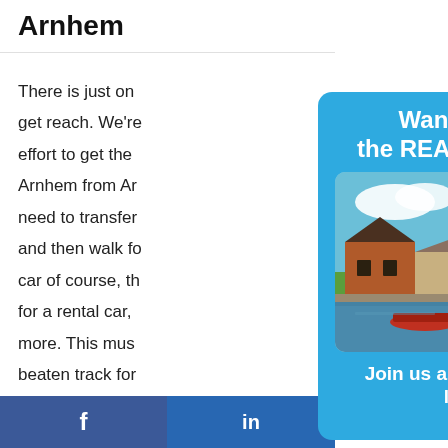Arnhem
There is just on get reach. We're effort to get the Arnhem from Ar need to transfer and then walk fo car of course, th for a rental car, more. This mus beaten track for note this park is (April-Septembe
[Figure (screenshot): Blue popup overlay with headline 'Want to see the REAL Holland?', a photo of a Dutch canal scene with farmhouses and a windmill, and call-to-action text 'Join us and visit like a local']
f   in